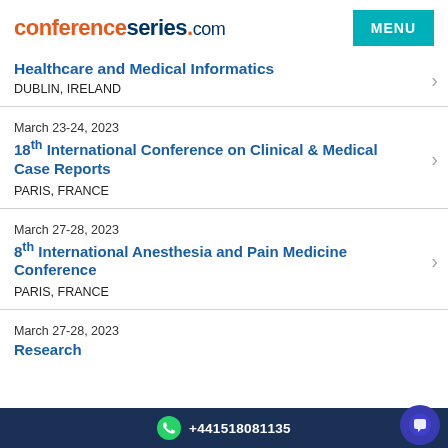conferenceseries.com
Healthcare and Medical Informatics
DUBLIN, IRELAND
March 23-24, 2023
18th International Conference on Clinical & Medical Case Reports
PARIS, FRANCE
March 27-28, 2023
8th International Anesthesia and Pain Medicine Conference
PARIS, FRANCE
March 27-28, 2023
Research
+441518081135